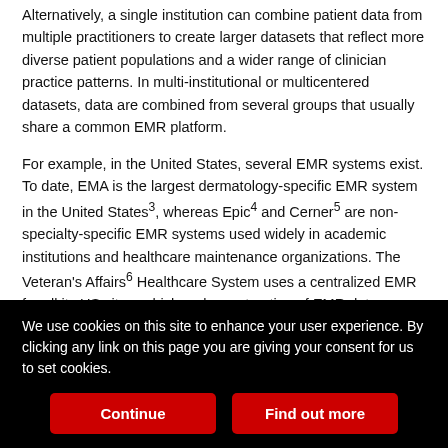Alternatively, a single institution can combine patient data from multiple practitioners to create larger datasets that reflect more diverse patient populations and a wider range of clinician practice patterns. In multi-institutional or multicentered datasets, data are combined from several groups that usually share a common EMR platform.
For example, in the United States, several EMR systems exist. To date, EMA is the largest dermatology-specific EMR system in the United States³, whereas Epic⁴ and Cerner⁵ are non-specialty-specific EMR systems used widely in academic institutions and healthcare maintenance organizations. The Veteran's Affairs⁶ Healthcare System uses a centralized EMR for all its US sites, which makes extraction of EMR data possible for research across large
We use cookies on this site to enhance your user experience. By clicking any link on this page you are giving your consent for us to set cookies.
Continue
Find out more